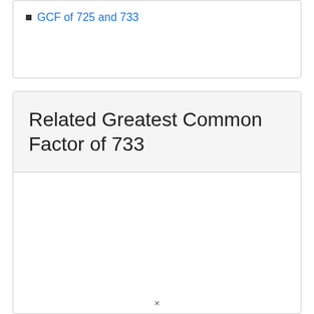GCF of 725 and 733
Related Greatest Common Factor of 733